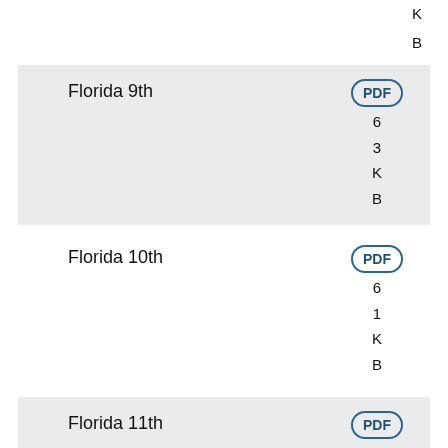K
B
Florida 9th  PDF  6 3 K B
Florida 10th  PDF  6 1 K B
Florida 11th  PDF  6 3 K